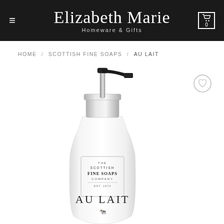Elizabeth Marie — Homeware & Gifts
HOME / SCOTTISH FINE SOAPS / AU LAIT
[Figure (photo): A white pump-dispenser bottle with a silver/chrome pump mechanism and black nozzle head. The bottle label reads: THE SCOTTISH FINE SOAPS COMPANY EST. 1973, AU LAIT, with a small cow illustration below.]